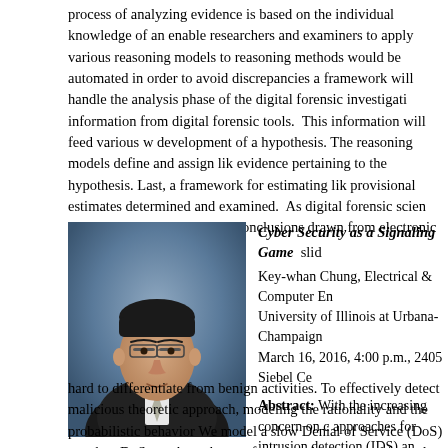process of analyzing evidence is based on the individual knowledge of an enable researchers and examiners to apply various reasoning models to reasoning methods would be automated in order to avoid discrepancies a framework will handle the analysis phase of the digital forensic investigati information from digital forensic tools. This information will feed various w development of a hypothesis. The reasoning models define and assign lik evidence pertaining to the hypothesis. Last, a framework for estimating lik provisional estimates determined and examined. As digital forensic scien able to rigorously determine conclusions drawn from electronic evidence.
[Figure (photo): Professional headshot of Key-whan Chung, a man wearing glasses and a suit with a light-colored tie, against a blurred background.]
Cyber Security as a Signaling Game slid Key-whan Chung, Electrical & Computer En University of Illinois at Urbana-Champaign March 16, 2016, 4:00 p.m., 2405 Siebel Ce
Abstract: With the increasing concern on c approaches for intrusion detection (IDS) an Starting from a signature based IDS and ad systems, the detection methods has becom attack models becoming more sophisticated hard to differentiate from benign activities. To effectively detect malicious theoretic approach, modeling the rationality and the probabilistic behavior We model a slow Denial of Service (DoS) attack, a DoS attack on the app from a real system and formulate the interaction as a signaling game, whe